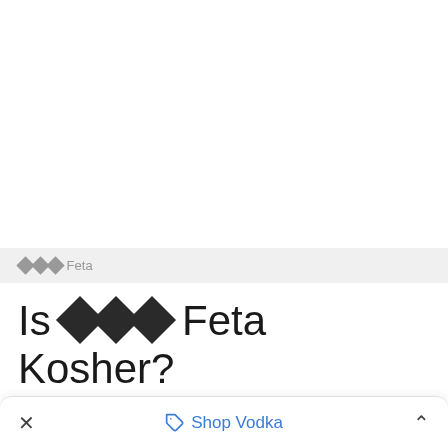??? Feta
Is ??? Feta Kosher?
Find if ??? Feta is kosher in your region. Is it kosher? app designed to help people find kosher food in any shop worldwide.
× Shop Vodka ^